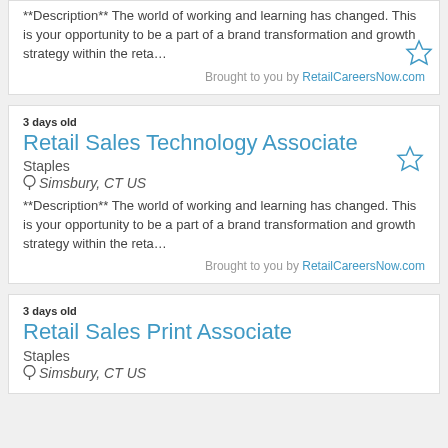**Description** The world of working and learning has changed. This is your opportunity to be a part of a brand transformation and growth strategy within the reta…
Brought to you by RetailCareersNow.com
3 days old
Retail Sales Technology Associate
Staples
Simsbury, CT US
**Description** The world of working and learning has changed. This is your opportunity to be a part of a brand transformation and growth strategy within the reta…
Brought to you by RetailCareersNow.com
3 days old
Retail Sales Print Associate
Staples
Simsbury, CT US